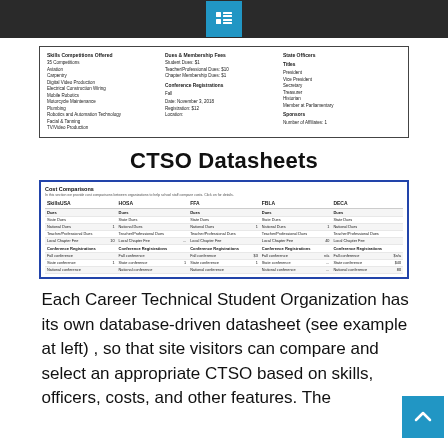[Figure (screenshot): CTSO datasheet preview showing Skills Competitions Offered, Dues & Membership Fees, Conference Registrations, State Officers, and Sponsors columns]
CTSO Datasheets
[Figure (table-as-image): Cost Comparisons table showing SkillsUSA, HOSA, FFA, FBLA, DECA columns with rows for dues, registrations, and other fees]
Each Career Technical Student Organization has its own database-driven datasheet (see example at left) , so that site visitors can compare and select an appropriate CTSO based on skills, officers, costs, and other features. The